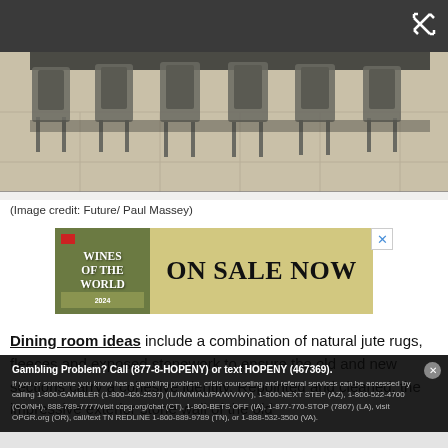[Figure (photo): Photo of dining room chairs arranged around a table, shot from a low angle showing chair legs and seat backs on a stone tile floor.]
(Image credit: Future/ Paul Massey)
[Figure (other): Advertisement banner reading 'WINES OF THE WORLD / ON SALE NOW']
Dining room ideas include a combination of natural jute rugs, fleeces and exposed stonework to ensure the old and new sections carry a cohesive identity. Repointed and cleaned, the impressive exterior stone wall of the old
Gambling Problem? Call (877-8-HOPENY) or text HOPENY (467369). If you or someone you know has a gambling problem, crisis counseling and referral services can be accessed by calling 1-800-GAMBLER (1-800-426-2537) (IL/IN/MI/NJ/PA/WV/WY), 1-800-NEXT STEP (AZ), 1-800-522-4700 (CO/NH), 888-789-7777/visit ccpg.org/chat (CT), 1-800-BETS OFF (IA), 1-877-770-STOP (7867) (LA), visit OPGR.org (OR), call/text TN REDLINE 1-800-889-9789 (TN), or 1-888-532-3500 (VA).